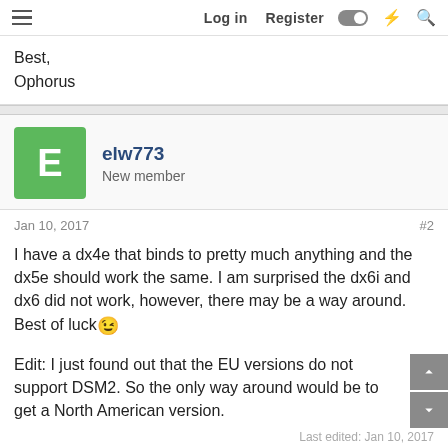Log in   Register
Best,
Ophorus
elw773
New member
Jan 10, 2017   #2
I have a dx4e that binds to pretty much anything and the dx5e should work the same. I am surprised the dx6i and dx6 did not work, however, there may be a way around. Best of luck
Edit: I just found out that the EU versions do not support DSM2. So the only way around would be to get a North American version.
Last edited: Jan 10, 2017